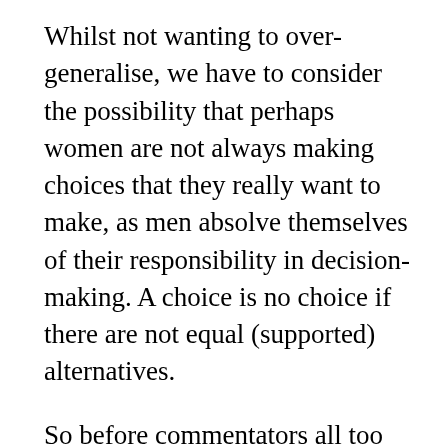Whilst not wanting to over-generalise, we have to consider the possibility that perhaps women are not always making choices that they really want to make, as men absolve themselves of their responsibility in decision- making. A choice is no choice if there are not equal (supported) alternatives.
So before commentators all too easily accept claims that restricting abortion is a war on women, they should stop to consider whether abortion is really a choice women want to always have to take responsibility for on their own.
But back to the polls. The difference between men's and women's attitudes may simply be that women are more sensitive to the fact that pregnancy involves carrying a living baby and